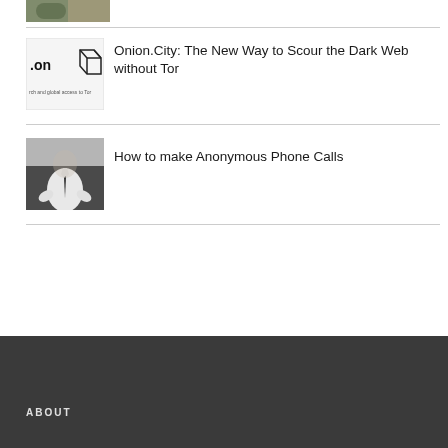[Figure (photo): Partial top image, appears to be a person in green/dark clothing, cropped]
[Figure (screenshot): Onion.City website thumbnail showing .on logo and tagline about search and global access to Tor]
Onion.City: The New Way to Scour the Dark Web without Tor
[Figure (photo): Black and white photo of a headless man in white shirt and tie with hands on hips]
How to make Anonymous Phone Calls
ABOUT